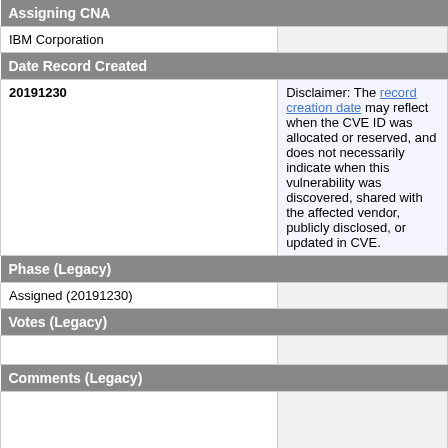Assigning CNA
| Assigning CNA |  |
| --- | --- |
| IBM Corporation |  |
Date Record Created
| Date Record Created |  |
| --- | --- |
| 20191230 | Disclaimer: The record creation date may reflect when the CVE ID was allocated or reserved, and does not necessarily indicate when this vulnerability was discovered, shared with the affected vendor, publicly disclosed, or updated in CVE. |
Phase (Legacy)
| Phase (Legacy) |  |
| --- | --- |
| Assigned (20191230) |  |
Votes (Legacy)
| Votes (Legacy) |  |
| --- | --- |
|  |  |
Comments (Legacy)
| Comments (Legacy) |  |
| --- | --- |
|  |  |
Proposed (Legacy)
| Proposed (Legacy) |  |
| --- | --- |
| N/A |  |
This is a record on the CVE List, which provides common identifiers for publicly known cybersecurity vulnerabilities.
SEARCH CVE USING KEYWORDS: